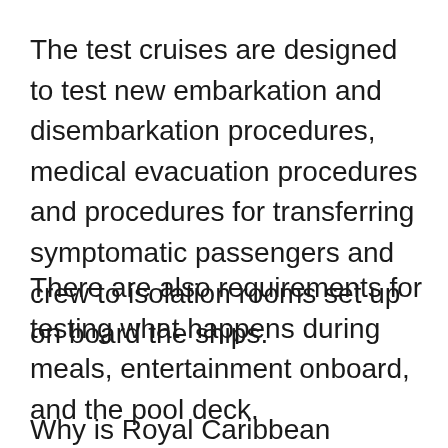The test cruises are designed to test new embarkation and disembarkation procedures, medical evacuation procedures and procedures for transferring symptomatic passengers and crew to isolation rooms set up on board the ships.
There are also requirements for testing what happens during meals, entertainment onboard, and the pool deck.
Why is Royal Caribbean choosing to